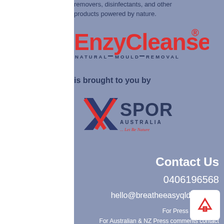removers, disinfectants, and other products powered by nature.
[Figure (logo): EnzyCleanse Natural Mould Removal logo in red and dark blue]
is brought to you by
[Figure (logo): XSPOR Australia logo with X in blue/red and tagline 'Let Be Nature']
Contact Us
0406196568
hello@breatheeasyqld.com.au
For Press Comments
For Australian & NZ Press comments contact Graeme on 0418956027